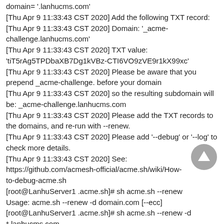domain= '.lanhucms.com'
[Thu Apr 9 11:33:43 CST 2020] Add the following TXT record:
[Thu Apr 9 11:33:43 CST 2020] Domain: '_acme-challenge.lanhucms.com'
[Thu Apr 9 11:33:43 CST 2020] TXT value: 'tiT5rAg5TPDbaXB7Dg1kVBz-CTI6VO9zVE9r1kX99xc'
[Thu Apr 9 11:33:43 CST 2020] Please be aware that you prepend _acme-challenge. before your domain
[Thu Apr 9 11:33:43 CST 2020] so the resulting subdomain will be: _acme-challenge.lanhucms.com
[Thu Apr 9 11:33:43 CST 2020] Please add the TXT records to the domains, and re-run with --renew.
[Thu Apr 9 11:33:43 CST 2020] Please add '--debug' or '--log' to check more details.
[Thu Apr 9 11:33:43 CST 2020] See: https://github.com/acmesh-official/acme.sh/wiki/How-to-debug-acme.sh
[root@LanhuServer1 .acme.sh]# sh acme.sh --renew
Usage: acme.sh --renew -d domain.com [--ecc]
[root@LanhuServer1 .acme.sh]# sh acme.sh --renew -d *.lanhucms.com
[Thu Apr 9 11:35:10 CST 2020] Renew: '*.lanhucms.com'
[Thu Apr 9 11:35:10 CST 2020] It seems that you are using dns